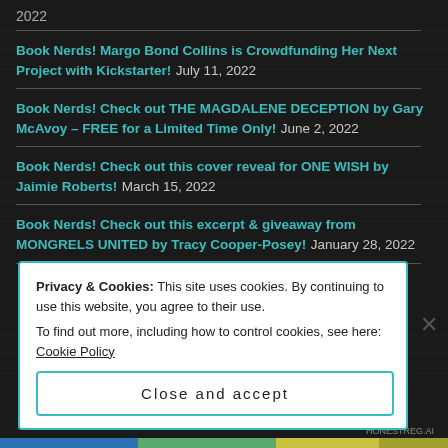2022
Book Nerds! Margo Bond Collins is Crowdfunding Her Next Project with Kickstarter! July 11, 2022
Book Nerds! Check out THE MAGDALENE DECEPTION by Gary McAvoy – FREE for a Limited Time Only! June 2, 2022
Book Nerds! Check out this cover reveal for ONE WISH by Jaimie Roberts! March 15, 2022
Book Nerds! Check out this excerpt & giveaway from MONGRELS UNITED by Tracy Cooper-Posey! January 28, 2022
Privacy & Cookies: This site uses cookies. By continuing to use this website, you agree to their use. To find out more, including how to control cookies, see here: Cookie Policy
Close and accept